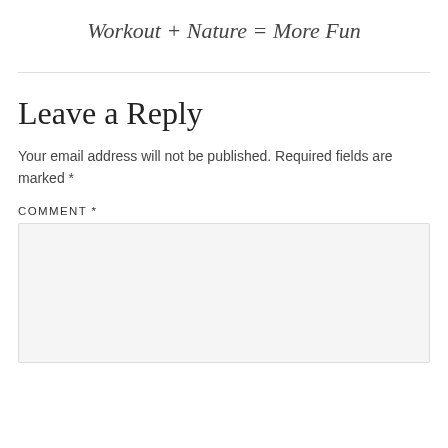Workout + Nature = More Fun
Leave a Reply
Your email address will not be published. Required fields are marked *
COMMENT *